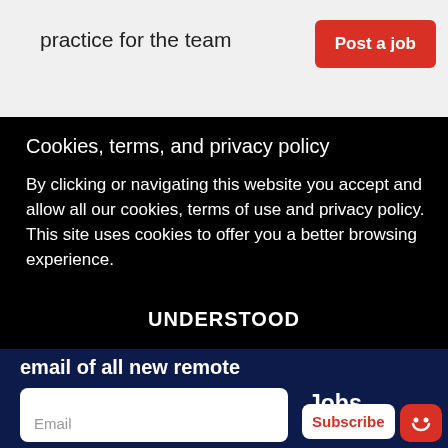practice for the team
Post a job
Cookies, terms, and privacy policy
By clicking or navigating this website you accept and allow all our cookies, terms of use and privacy policy. This site uses cookies to offer you a better browsing experience.
UNDERSTOOD
email of all new remote
Jobs.
full stack, java, css, ..
Name
Email
Subscribe